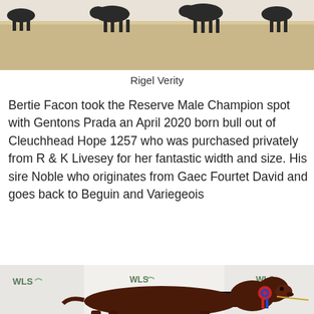[Figure (photo): Top portion of cattle standing in snowy/sandy field, partially cropped]
Rigel Verity
Bertie Facon took the Reserve Male Champion spot with Gentons Prada an April 2020 born bull out of Cleuchhead Hope 1257 who was purchased privately from R & K Livesey for her fantastic width and size. His sire Noble who originates from Gaec Fourtet David and goes back to Beguin and Variegeois
[Figure (photo): Brown Limousin bull with red and blue rosette standing in front of WLS branded backdrop with Campbell branding visible]